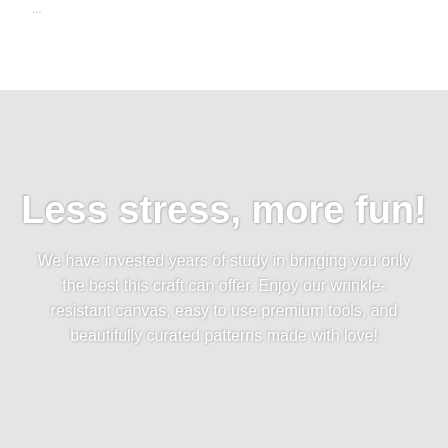...
Less stress, more fun!
We have invested years of study in bringing you only the best this craft can offer. Enjoy our wrinkle-resistant canvas, easy to use premium tools, and beautifully curated patterns made with love!